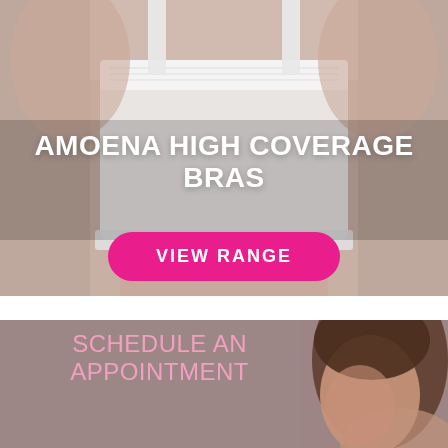[Figure (photo): Woman wearing a white Amoena high coverage lace bra against a neutral background. Text overlay reads 'AMOENA HIGH COVERAGE BRAS' with a pink 'VIEW RANGE' button.]
AMOENA HIGH COVERAGE BRAS
VIEW RANGE
[Figure (photo): Woman with brown hair smiling on a mauve/taupe background. Text overlay reads 'SCHEDULE AN APPOINTMENT'.]
SCHEDULE AN APPOINTMENT